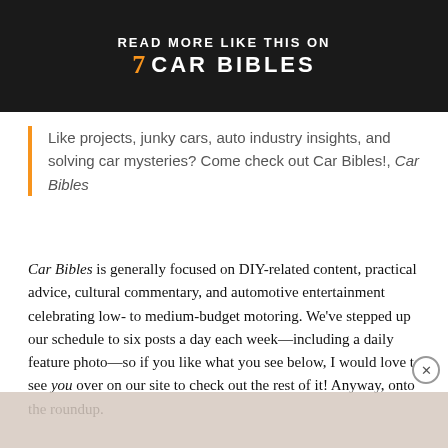[Figure (logo): Car Bibles promotional banner with orange chevron logo and text READ MORE LIKE THIS ON CAR BIBLES on dark background]
Like projects, junky cars, auto industry insights, and solving car mysteries? Come check out Car Bibles!, Car Bibles
Car Bibles is generally focused on DIY-related content, practical advice, cultural commentary, and automotive entertainment celebrating low- to medium-budget motoring. We've stepped up our schedule to six posts a day each week—including a daily feature photo—so if you like what you see below, I would love to see you over on our site to check out the rest of it! Anyway, onto the roundup.
[Figure (photo): Partial view of a photo at the bottom of the page, appears to be cars or automotive scene]